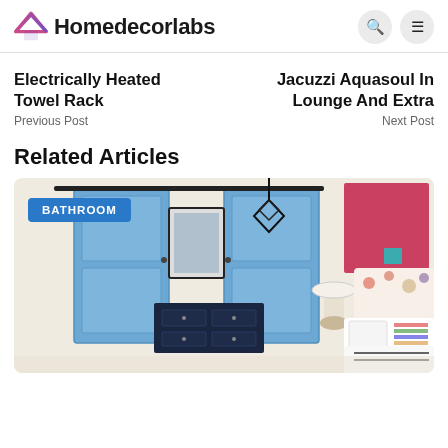Homedecorlabs
Electrically Heated Towel Rack
Previous Post
Jacuzzi Aquasoul In Lounge And Extra
Next Post
Related Articles
[Figure (photo): Bedroom interior with blue barn doors opening to a bathroom, a black geometric pendant light, floral headboard, striped throw pillows, and a pink artwork on the wall. A 'BATHROOM' label badge overlays the top left.]